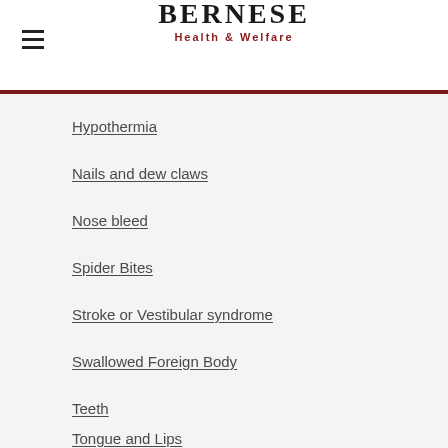BERNESE Health & Welfare
Hypothermia
Nails and dew claws
Nose bleed
Spider Bites
Stroke or Vestibular syndrome
Swallowed Foreign Body
Teeth
Tongue and Lips
Wounds, Bumps and Scratches